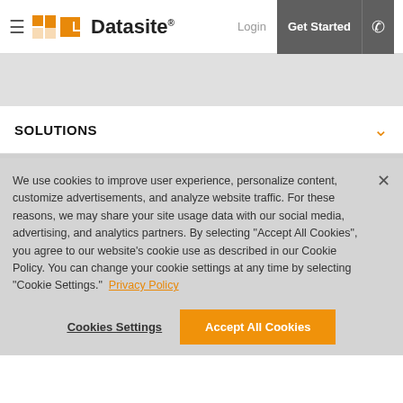≡ Datasite® | Login | Get Started | ☎
[Figure (screenshot): Gray banner area placeholder]
SOLUTIONS
We use cookies to improve user experience, personalize content, customize advertisements, and analyze website traffic. For these reasons, we may share your site usage data with our social media, advertising, and analytics partners. By selecting "Accept All Cookies", you agree to our website's cookie use as described in our Cookie Policy. You can change your cookie settings at any time by selecting "Cookie Settings." Privacy Policy
Cookies Settings | Accept All Cookies